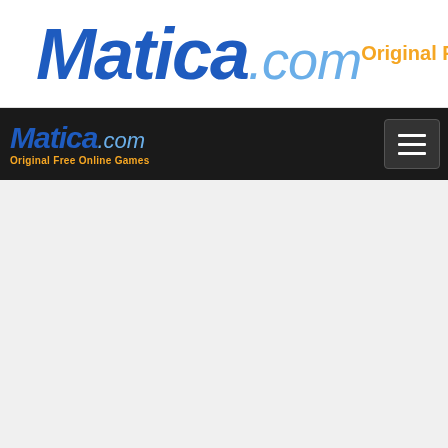Matica.com — Original Free Online Games (top banner)
Matica.com — Original Free Online Games (nav bar with hamburger menu)